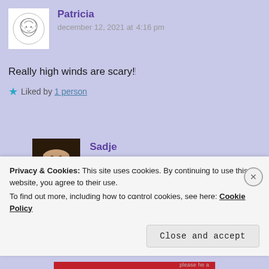Patricia
december 12, 2021 at 4:16 pm
Really high winds are scary!
Liked by 1 person
Sadje
december 11, 2021 at 9:47 pm
Privacy & Cookies: This site uses cookies. By continuing to use this website, you agree to their use. To find out more, including how to control cookies, see here: Cookie Policy
Close and accept